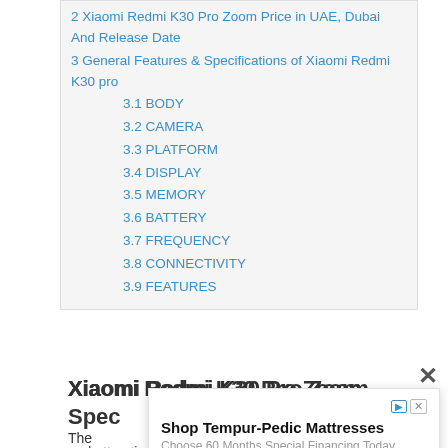2 Xiaomi Redmi K30 Pro Zoom Price in UAE, Dubai And Release Date
3 General Features & Specifications of Xiaomi Redmi K30 pro
3.1 BODY
3.2 CAMERA
3.3 PLATFORM
3.4 DISPLAY
3.5 MEMORY
3.6 BATTERY
3.7 FREQUENCY
3.8 CONNECTIVITY
3.9 FEATURES
Xiaomi Redmi K30 Pro Zoom Specifications
The ... nice and attractive body that is built with the